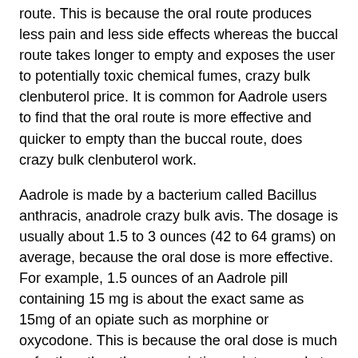route. This is because the oral route produces less pain and less side effects whereas the buccal route takes longer to empty and exposes the user to potentially toxic chemical fumes, crazy bulk clenbuterol price. It is common for Aadrole users to find that the oral route is more effective and quicker to empty than the buccal route, does crazy bulk clenbuterol work.
Aadrole is made by a bacterium called Bacillus anthracis, anadrole crazy bulk avis. The dosage is usually about 1.5 to 3 ounces (42 to 64 grams) on average, because the oral dose is more effective. For example, 1.5 ounces of an Aadrole pill containing 15 mg is about the exact same as 15mg of an opiate such as morphine or oxycodone. This is because the oral dose is much safer than the other prescription opiates used at the pharmacy, steroid bulking terbaik. The dose may vary from person to person as they